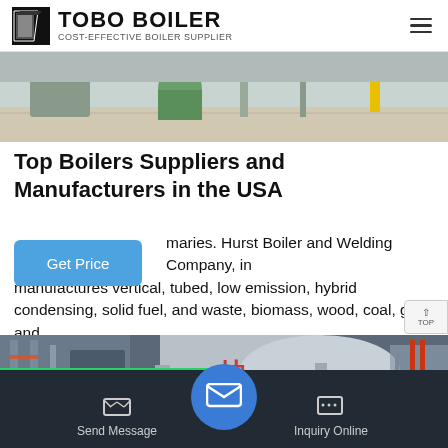TOBO BOILER — COST-EFFECTIVE BOILER SUPPLIER
[Figure (photo): Industrial boiler facility interior showing equipment and machinery]
Top Boilers Suppliers and Manufacturers in the USA
...omaries. Hurst Boiler and Welding Company, in manufactures vertical, tubed, low emission, hybrid condensing, solid fuel, and waste, biomass, wood, coal, gas, and oil-fired steam and hot water boilers.It also provides skid packa(ge)
[Figure (photo): Industrial boiler plant interior with large cylindrical boiler and red Chinese characters visible]
Send Message | Inquiry Online